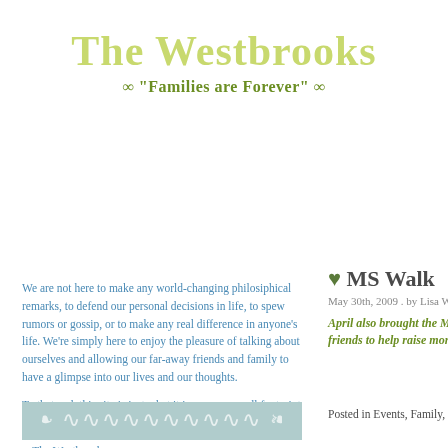The Westbrooks
∞ "Families are Forever" ∞
We are not here to make any world-changing philosiphical remarks, to defend our personal decisions in life, to spew rumors or gossip, or to make any real difference in anyone's life. We're simply here to enjoy the pleasure of talking about ourselves and allowing our far-away friends and family to have a glimpse into our lives and our thoughts.

To that end, this site is just what it is... a very small footprint in a very large world.

-- The Westbrooks
[Figure (illustration): Decorative flourish/ornament on light blue background]
♥ MS Walk
May 30th, 2009 . by Lisa Westbro
April also brought the MS wa our friends to help raise mon
Posted in Events, Family, Fun S